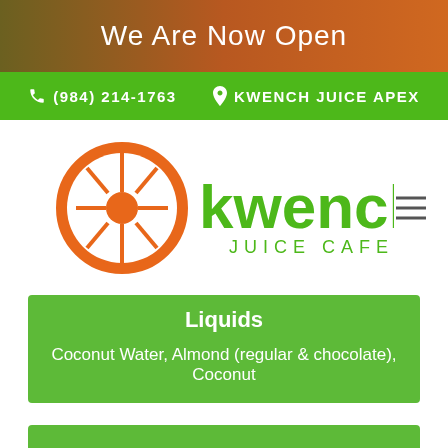We Are Now Open
(984) 214-1763  KWENCH JUICE APEX
[Figure (logo): Kwench Juice Cafe logo with orange citrus slice icon and green text]
Liquids
Coconut Water, Almond (regular & chocolate), Coconut
Super Food Boosts
$1 each
Add to any juice, smoothie or bowl
Amla Berry Powder   Lucuma